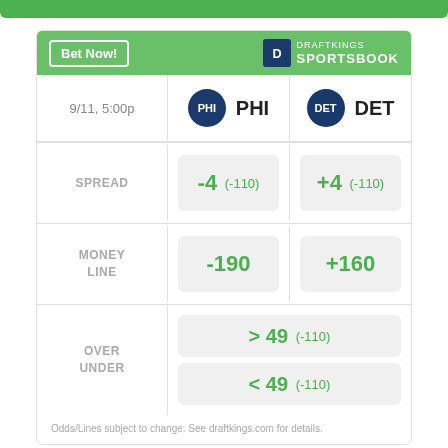[Figure (infographic): DraftKings Sportsbook betting widget for PHI vs DET on 9/11, 5:00p. Spread: PHI -4 (-110), DET +4 (-110). Money Line: PHI -190, DET +160. Over/Under: > 49 (-110), < 49 (-110).]
Odds/Lines subject to change. See draftkings.com for details.
[Figure (infographic): AD banner: PRESENTED BY T-Mobile, with sports equipment photo background]